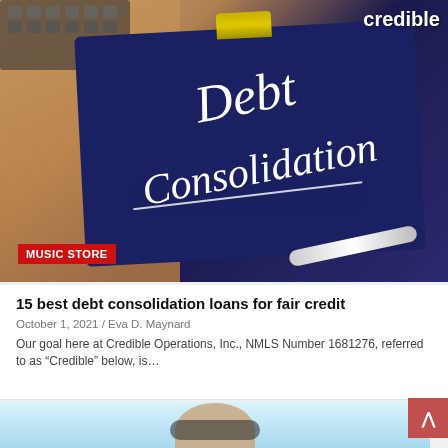[Figure (photo): Clipboard with 'Debt Consolidation' written in white handwriting on dark blue background, with a pen resting on it, keyboard in top-left corner, on wood table. Credible logo in top-right. Music Store red badge overlay.]
MUSIC STORE
15 best debt consolidation loans for fair credit
October 1, 2021 / Eva D. Maynard
Our goal here at Credible Operations, Inc., NMLS Number 1681276, referred to as “Credible” below, is…
[Figure (photo): Partial image of a person wearing headphones, with a light blue circular background, viewed from partial crop at bottom of page.]